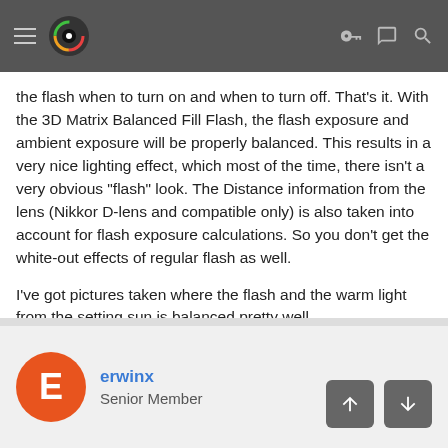Navigation bar with logo and icons
the flash when to turn on and when to turn off. That's it. With the 3D Matrix Balanced Fill Flash, the flash exposure and ambient exposure will be properly balanced. This results in a very nice lighting effect, which most of the time, there isn't a very obvious "flash" look. The Distance information from the lens (Nikkor D-lens and compatible only) is also taken into account for flash exposure calculations. So you don't get the white-out effects of regular flash as well.
I've got pictures taken where the flash and the warm light from the setting sun is balanced pretty well.
Regards
CK
erwinx
Senior Member